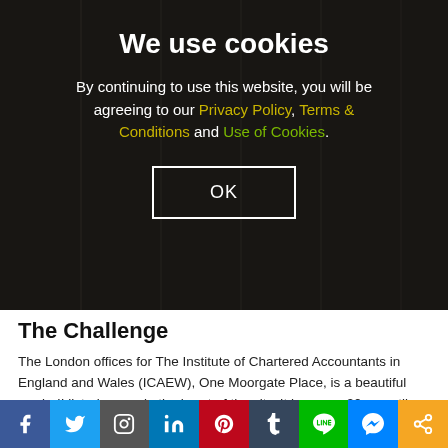[Figure (screenshot): ICAEW website cookie consent overlay on a dark background with a blurred office/venue photo behind it]
We use cookies
By continuing to use this website, you will be agreeing to our Privacy Policy, Terms & Conditions and Use of Cookies.
OK
The Challenge
The London offices for The Institute of Chartered Accountants in England and Wales (ICAEW), One Moorgate Place, is a beautiful grade-II listed venue in the heart of the city. It has over 20 versatile rooms which can accommodate almost any event or conference, the largest and most impressive of which is the Great Hall.
[Figure (infographic): Social media sharing bar with icons for Facebook, Twitter, Instagram, LinkedIn, Pinterest, Tumblr, LINE, Messenger, and Share]